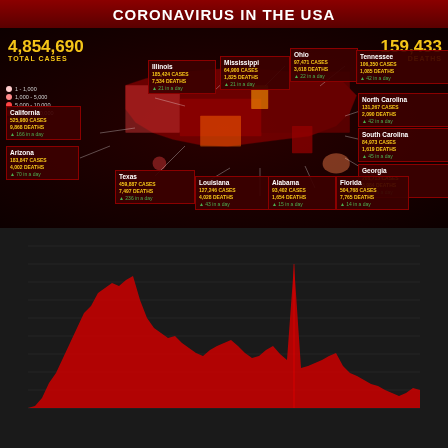CORONAVIRUS IN THE USA
[Figure (map): USA choropleth map showing COVID-19 cases by state with state data boxes for Illinois, California, Arizona, Mississippi, Ohio, Tennessee, North Carolina, South Carolina, Georgia, Texas, Louisiana, Alabama, Florida. Total cases: 4,854,690. Total deaths: 159,433. Legend shows dot colors for 1-1,000, 1,000-5,000, 5,000-10,000, 10,000-50,000, 50,000+.]
[Figure (area-chart): Red area chart showing daily US COVID deaths over time with spikes up to ~2600. Total confirmed U.S. Deaths: 159,433]